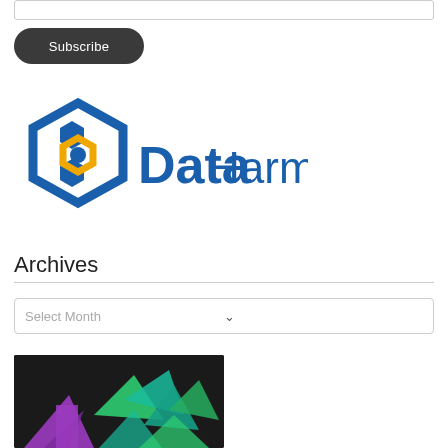[Figure (screenshot): Input text field (empty, with border)]
[Figure (screenshot): Dark rounded Subscribe button]
[Figure (logo): Data Harmony logo — blue hexagon icon with gold inner hexagon and blue text 'Data Harmony']
Archives
[Figure (screenshot): Select Month dropdown box with chevron icon]
[Figure (photo): Thumbnail image with dark background showing colorful low-poly geometric shapes (purple, green, teal)]